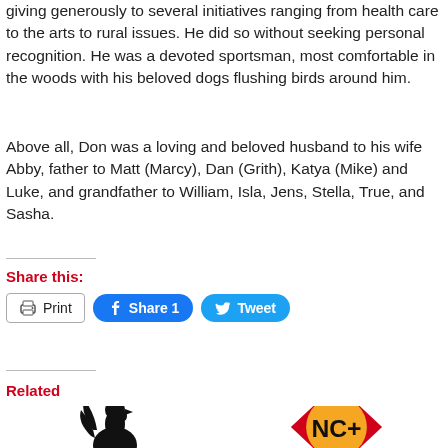giving generously to several initiatives ranging from health care to the arts to rural issues. He did so without seeking personal recognition. He was a devoted sportsman, most comfortable in the woods with his beloved dogs flushing birds around him.
Above all, Don was a loving and beloved husband to his wife Abby, father to Matt (Marcy), Dan (Grith), Katya (Mike) and Luke, and grandfather to William, Isla, Jens, Stella, True, and Sasha.
Share this:
[Figure (other): Print button, Facebook Share 1 button, Twitter Tweet button]
Related
[Figure (logo): Rooster logo (black silhouette of a rooster) with text below partially visible]
[Figure (logo): NC+ logo: red diamond shape with yellow circle in center containing NC+ text in bold black]